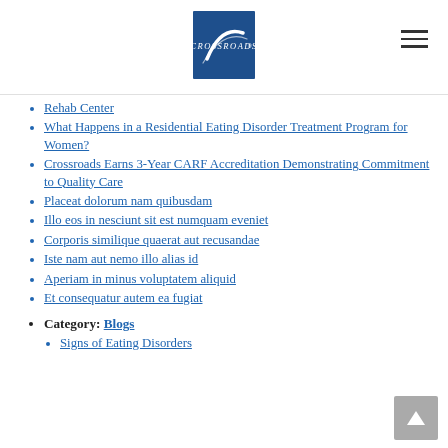[Figure (logo): Crossroads logo — blue square with white S-curve and CROSSROADS text]
Rehab Center
What Happens in a Residential Eating Disorder Treatment Program for Women?
Crossroads Earns 3-Year CARF Accreditation Demonstrating Commitment to Quality Care
Placeat dolorum nam quibusdam
Illo eos in nesciunt sit est numquam eveniet
Corporis similique quaerat aut recusandae
Iste nam aut nemo illo alias id
Aperiam in minus voluptatem aliquid
Et consequatur autem ea fugiat
Category: Blogs
Signs of Eating Disorders